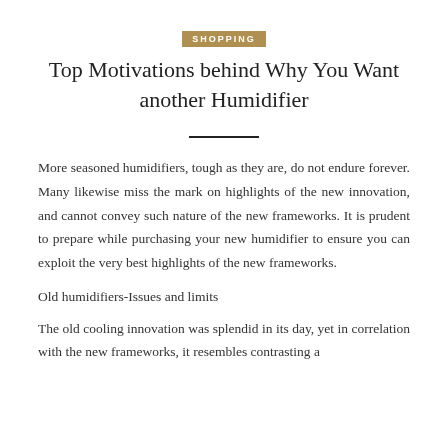SHOPPING
Top Motivations behind Why You Want another Humidifier
More seasoned humidifiers, tough as they are, do not endure forever. Many likewise miss the mark on highlights of the new innovation, and cannot convey such nature of the new frameworks. It is prudent to prepare while purchasing your new humidifier to ensure you can exploit the very best highlights of the new frameworks.
Old humidifiers-Issues and limits
The old cooling innovation was splendid in its day, yet in correlation with the new frameworks, it resembles contrasting a